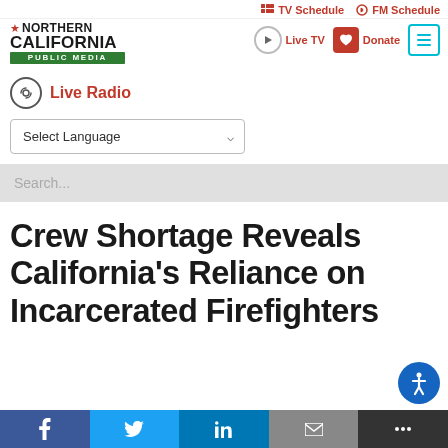TV Schedule | FM Schedule | Live TV | Donate
[Figure (logo): Northern California Public Media logo with star, green bar]
Live Radio
Select Language
Search...
Crew Shortage Reveals California's Reliance on Incarcerated Firefighters